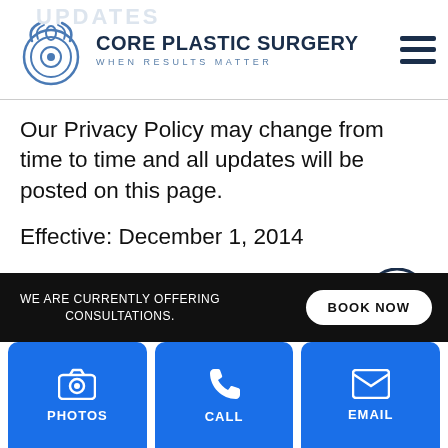CORE PLASTIC SURGERY - WHEN RESULTS MATTER
Our Privacy Policy may change from time to time and all updates will be posted on this page.
Effective: December 1, 2014
Last Updated: May 24th, 2018
If you feel that we are not abiding by this privacy policy, you should contact us immediately via
WE ARE CURRENTLY OFFERING CONSULTATIONS.
BOOK NOW
PHOTOS
CALL
EMAIL